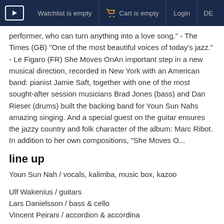Watchlist is empty  Cart is empty  Login  DE
performer, who can turn anything into a love song." - The Times (GB) "One of the most beautiful voices of today's jazz." - Le Figaro (FR) She Moves OnAn important step in a new musical direction, recorded in New York with an American band: pianist Jamie Saft, together with one of the most sought-after session musicians Brad Jones (bass) and Dan Rieser (drums) built the backing band for Youn Sun Nahs amazing singing. And a special guest on the guitar ensures the jazzy country and folk character of the album: Marc Ribot. In addition to her own compositions, "She Moves O...
line up
Youn Sun Nah / vocals, kalimba, music box, kazoo
Ulf Wakenius / guitars
Lars Danielsson / bass & cello
Vincent Peirani / accordion & accordina
Xavier Desandre-Navarre / percussion
Jamie Saft / Piano, keys
Brad Jones / Acoustic Bass
Dan Rieser / Drums